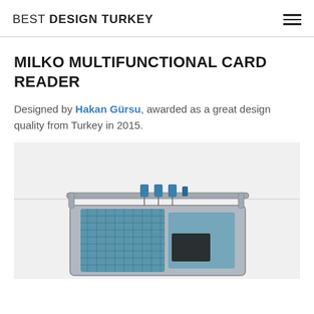BEST DESIGN TURKEY
MILKO MULTIFUNCTIONAL CARD READER
Designed by Hakan Gürsu, awarded as a great design quality from Turkey in 2015.
[Figure (photo): Photo of Milko multifunctional card reader device — a boxy metallic/teal industrial unit with a tubular frame on top and blue card reader modules attached, partially visible from above angle.]